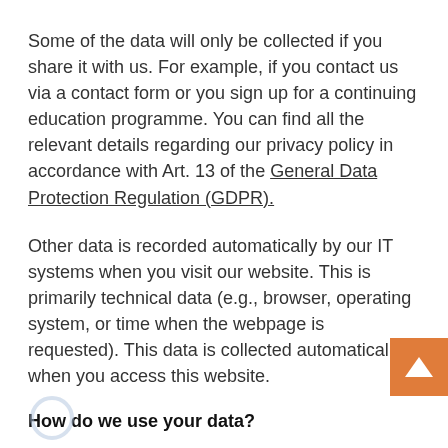Some of the data will only be collected if you share it with us. For example, if you contact us via a contact form or you sign up for a continuing education programme. You can find all the relevant details regarding our privacy policy in accordance with Art. 13 of the General Data Protection Regulation (GDPR).
Other data is recorded automatically by our IT systems when you visit our website. This is primarily technical data (e.g., browser, operating system, or time when the webpage is requested). This data is collected automatically when you access this website.
How do we use your data?
Some of the data is recorded to ensure proper operation of the website. Other data may be used to analyse your user behaviour.